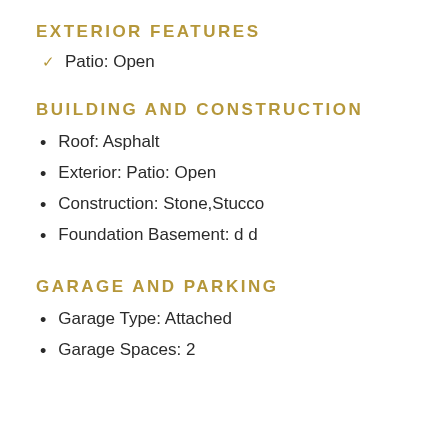EXTERIOR FEATURES
Patio: Open
BUILDING AND CONSTRUCTION
Roof: Asphalt
Exterior: Patio: Open
Construction: Stone,Stucco
Foundation Basement: d d
GARAGE AND PARKING
Garage Type: Attached
Garage Spaces: 2